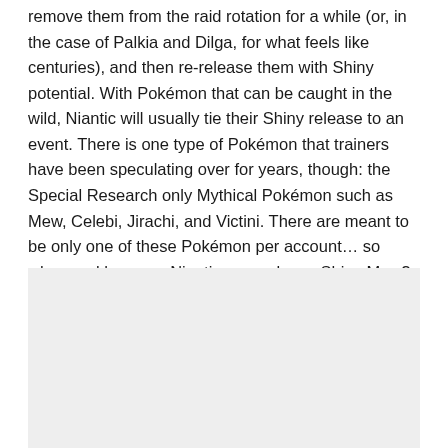remove them from the raid rotation for a while (or, in the case of Palkia and Dilga, for what feels like centuries), and then re-release them with Shiny potential. With Pokémon that can be caught in the wild, Niantic will usually tie their Shiny release to an event. There is one type of Pokémon that trainers have been speculating over for years, though: the Special Research only Mythical Pokémon such as Mew, Celebi, Jirachi, and Victini. There are meant to be only one of these Pokémon per account… so when and how can Niantic ever release Shiny Mew?
[Figure (other): Gray placeholder/advertisement box]